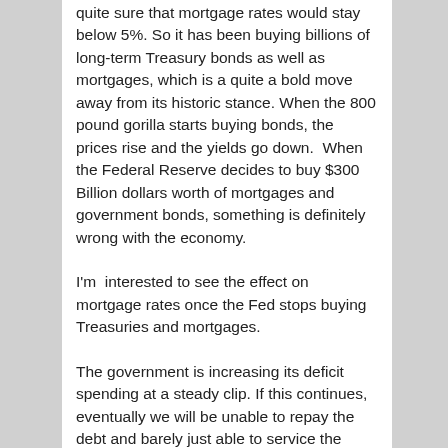quite sure that mortgage rates would stay below 5%. So it has been buying billions of long-term Treasury bonds as well as mortgages, which is a quite a bold move away from its historic stance. When the 800 pound gorilla starts buying bonds, the prices rise and the yields go down.  When the Federal Reserve decides to buy $300 Billion dollars worth of mortgages and government bonds, something is definitely wrong with the economy.
I'm  interested to see the effect on mortgage rates once the Fed stops buying Treasuries and mortgages.
The government is increasing its deficit spending at a steady clip. If this continues, eventually we will be unable to repay the debt and barely just able to service the debt. Obviously this is not a